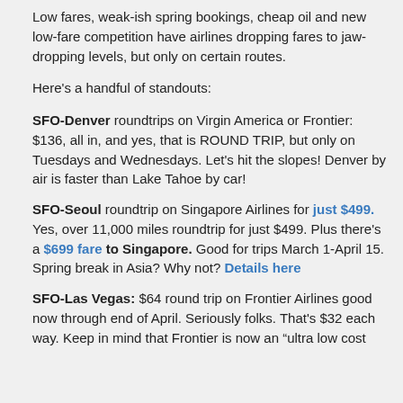Low fares, weak-ish spring bookings, cheap oil and new low-fare competition have airlines dropping fares to jaw-dropping levels, but only on certain routes.
Here's a handful of standouts:
SFO-Denver roundtrips on Virgin America or Frontier: $136, all in, and yes, that is ROUND TRIP, but only on Tuesdays and Wednesdays. Let's hit the slopes! Denver by air is faster than Lake Tahoe by car!
SFO-Seoul roundtrip on Singapore Airlines for just $499. Yes, over 11,000 miles roundtrip for just $499. Plus there's a $699 fare to Singapore. Good for trips March 1-April 15. Spring break in Asia? Why not? Details here
SFO-Las Vegas: $64 round trip on Frontier Airlines good now through end of April. Seriously folks. That's $32 each way. Keep in mind that Frontier is now an "ultra low cost